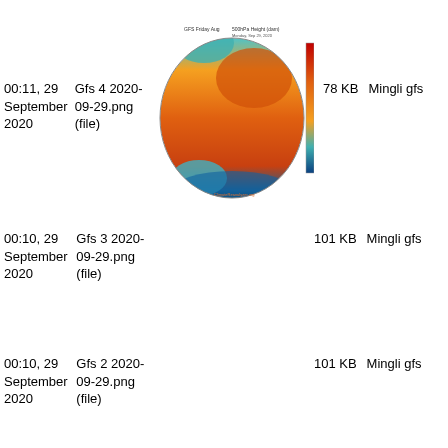[Figure (photo): Globe map showing 500hPa height contours with color scale, labeled GFS Friday Aug, Monday Sep 29 2020, from ClimateReanalyzer.org]
00:11, 29 September 2020
Gfs 4 2020-09-29.png (file)
78 KB
Mingli gfs
00:10, 29 September 2020
Gfs 3 2020-09-29.png (file)
101 KB
Mingli gfs
00:10, 29 September 2020
Gfs 2 2020-09-29.png (file)
101 KB
Mingli gfs